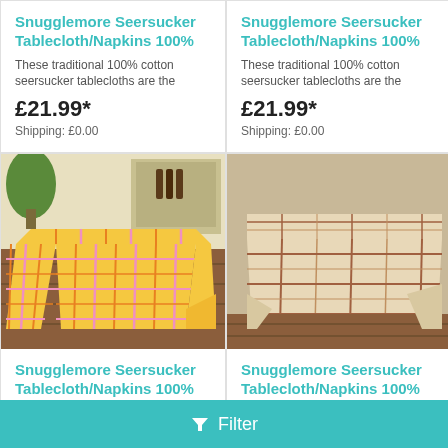Snugglemore Seersucker Tablecloth/Napkins 100%
These traditional 100% cotton seersucker tablecloths are the
£21.99*
Shipping: £0.00
Snugglemore Seersucker Tablecloth/Napkins 100%
These traditional 100% cotton seersucker tablecloths are the
£21.99*
Shipping: £0.00
[Figure (photo): Yellow and pink plaid seersucker tablecloth draped over a table in a room setting]
Snugglemore Seersucker Tablecloth/Napkins 100%
These traditional 100% cotton
[Figure (photo): Beige and brown plaid seersucker tablecloth draped over a table on a wooden floor]
Snugglemore Seersucker Tablecloth/Napkins 100%
These traditional 100% cotton
Filter